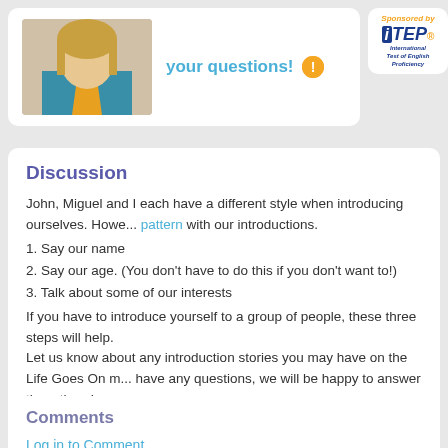[Figure (photo): Photo of a woman with blonde hair wearing a teal shirt, partially visible at top left]
your questions!
[Figure (logo): Sponsored by iTEP International Test of English Proficiency logo]
Discussion
John, Miguel and I each have a different style when introducing ourselves. Howe... pattern with our introductions.
1. Say our name
2. Say our age. (You don't have to do this if you don't want to!)
3. Talk about some of our interests
If you have to introduce yourself to a group of people, these three steps will help. Let us know about any introduction stories you may have on the Life Goes On m... have any questions, we will be happy to answer them there!
Have a great week friends!
Tanis
Comments
Log in to Comment